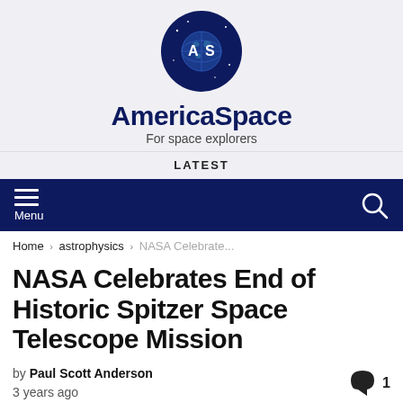[Figure (logo): AmericaSpace logo: circular dark navy badge with globe and 'AS' letters in white]
AmericaSpace
For space explorers
LATEST
[Figure (other): Dark navy navigation bar with hamburger menu icon and 'Menu' label on left, search icon on right]
Home › astrophysics › NASA Celebrate...
NASA Celebrates End of Historic Spitzer Space Telescope Mission
by Paul Scott Anderson
3 years ago
[Figure (photo): Partial photo of space telescope or related imagery with warm amber/golden tones]